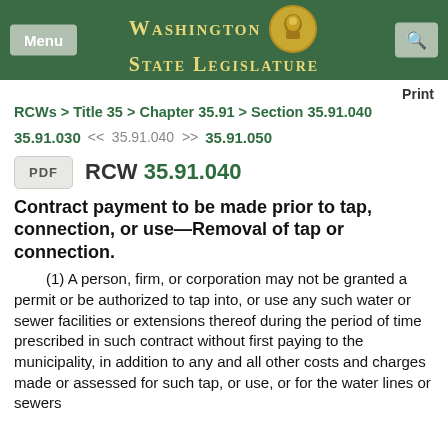Washington State Legislature
Print
RCWs > Title 35 > Chapter 35.91 > Section 35.91.040
35.91.030  <<  35.91.040  >>  35.91.050
PDF  RCW 35.91.040
Contract payment to be made prior to tap, connection, or use—Removal of tap or connection.
(1) A person, firm, or corporation may not be granted a permit or be authorized to tap into, or use any such water or sewer facilities or extensions thereof during the period of time prescribed in such contract without first paying to the municipality, in addition to any and all other costs and charges made or assessed for such tap, or use, or for the water lines or sewers